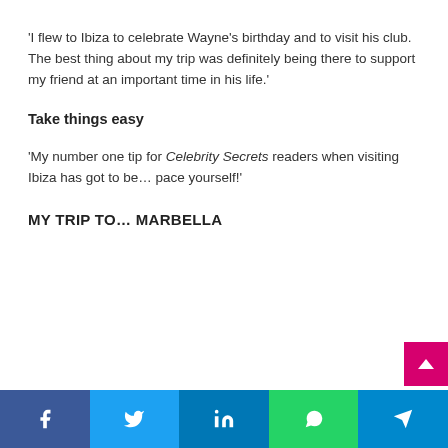'I flew to Ibiza to celebrate Wayne's birthday and to visit his club. The best thing about my trip was definitely being there to support my friend at an important time in his life.'
Take things easy
'My number one tip for Celebrity Secrets readers when visiting Ibiza has got to be… pace yourself!'
MY TRIP TO… MARBELLA